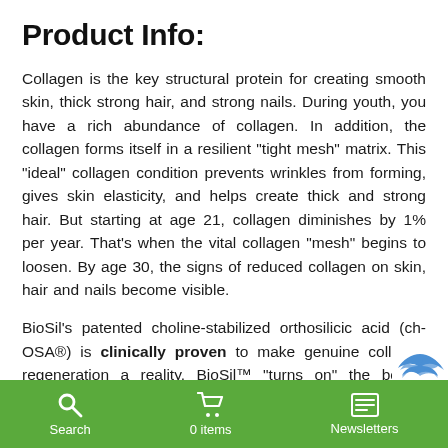Product Info:
Collagen is the key structural protein for creating smooth skin, thick strong hair, and strong nails. During youth, you have a rich abundance of collagen. In addition, the collagen forms itself in a resilient "tight mesh" matrix. This "ideal" collagen condition prevents wrinkles from forming, gives skin elasticity, and helps create thick and strong hair. But starting at age 21, collagen diminishes by 1% per year. That's when the vital collagen "mesh" begins to loosen. By age 30, the signs of reduced collagen on skin, hair and nails become visible.
BioSil's patented choline-stabilized orthosilicic acid (ch-OSA®) is clinically proven to make genuine collagen regeneration a reality. BioSil™ "turns on" the body's actual collagen-generating cells, known as fibroblasts. Bio...
Search   0 items   Newsletters